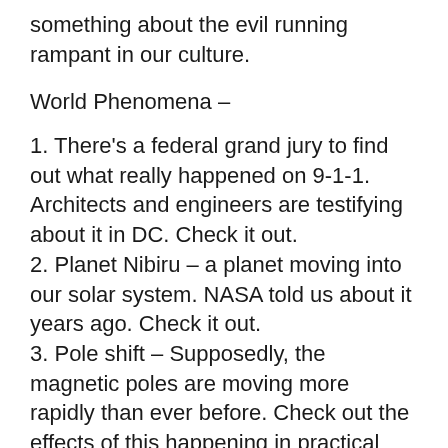something about the evil running rampant in our culture.
World Phenomena –
1. There's a federal grand jury to find out what really happened on 9-1-1. Architects and engineers are testifying about it in DC. Check it out.
2. Planet Nibiru – a planet moving into our solar system. NASA told us about it years ago. Check it out.
3. Pole shift – Supposedly, the magnetic poles are moving more rapidly than ever before. Check out the effects of this happening in practical ways. The